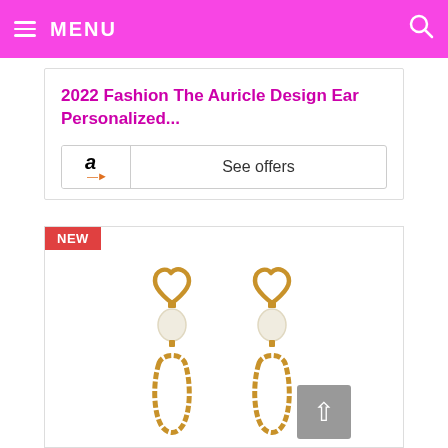MENU
2022 Fashion The Auricle Design Ear Personalized...
See offers
[Figure (photo): Product photo of gold heart-shaped drop earrings with pearl accent and hammered gold open-oval pendant. NEW badge shown in top left corner.]